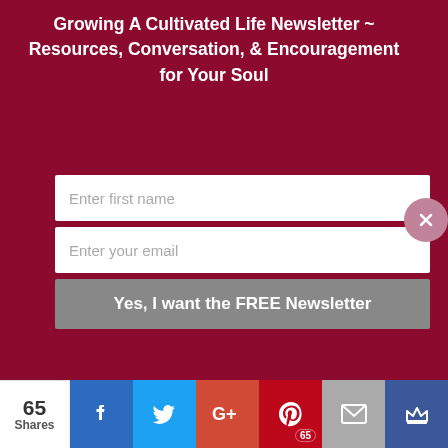Growing A Cultivated Life Newsletter ~ Resources, Conversation, & Encouragement for Your Soul
Enter first name
Enter your email
Yes, I want the FREE Newsletter
2018 at 6:20 PM
Thank you so much for letting me know, Melissa. I'm not sure if it makes a difference, but since a podcast is audio (not video) it should use up less data. I'm sorry you weren't able to
This website uses cookies to improve your experience. We'll assume you're ok with this, but you can opt-out if you wish.
65 Shares